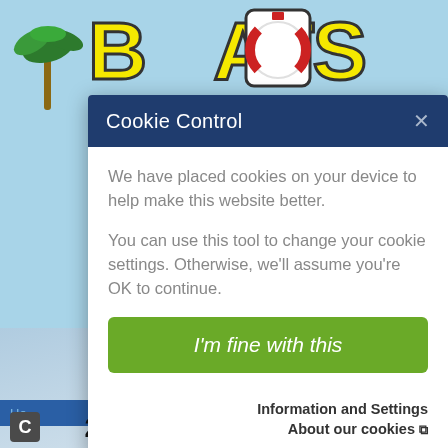[Figure (screenshot): Background of a boat dealer website showing 'BOATS' logo in yellow with life ring, palm tree, 'ARINELAND' text, navigation links, hamburger menu, breadcrumb bar, and '2022 SUNCATCHER SELECT 324SL' boat listing title on light blue background.]
Cookie Control
We have placed cookies on your device to help make this website better.
You can use this tool to change your cookie settings. Otherwise, we'll assume you're OK to continue.
I'm fine with this
Information and Settings
About our cookies ↗